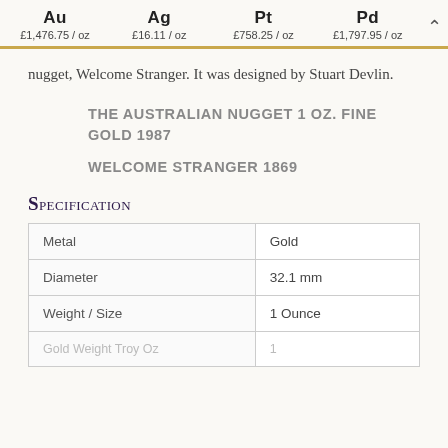Au £1,476.75 / oz   Ag £16.11 / oz   Pt £758.25 / oz   Pd £1,797.95 / oz
nugget, Welcome Stranger. It was designed by Stuart Devlin.
THE AUSTRALIAN NUGGET 1 OZ. FINE GOLD 1987
WELCOME STRANGER 1869
Specification
| Metal | Gold |
| --- | --- |
| Metal | Gold |
| Diameter | 32.1 mm |
| Weight / Size | 1 Ounce |
| Gold Weight Troy Oz | 1 |